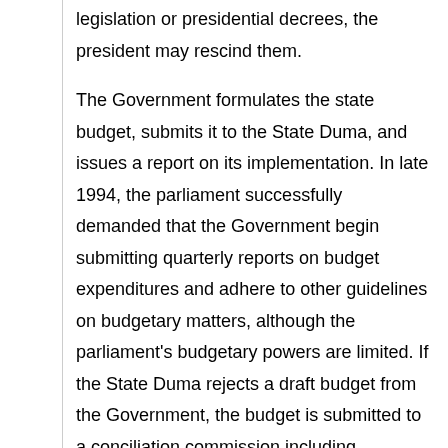legislation or presidential decrees, the president may rescind them.
The Government formulates the state budget, submits it to the State Duma, and issues a report on its implementation. In late 1994, the parliament successfully demanded that the Government begin submitting quarterly reports on budget expenditures and adhere to other guidelines on budgetary matters, although the parliament's budgetary powers are limited. If the State Duma rejects a draft budget from the Government, the budget is submitted to a conciliation commission including members from both branches.
Besides the ministries, in 1996 the executive branch included eleven state committees and 46